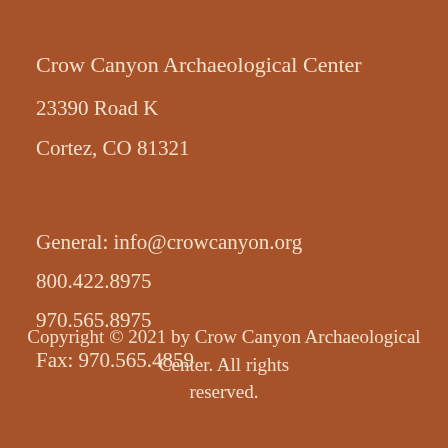Crow Canyon Archaeological Center
23390 Road K
Cortez, CO 81321
General: info@crowcanyon.org
800.422.8975
970.565.8975
Fax: 970.565.4859
Copyright © 2021 by Crow Canyon Archaeological Center. All rights reserved.